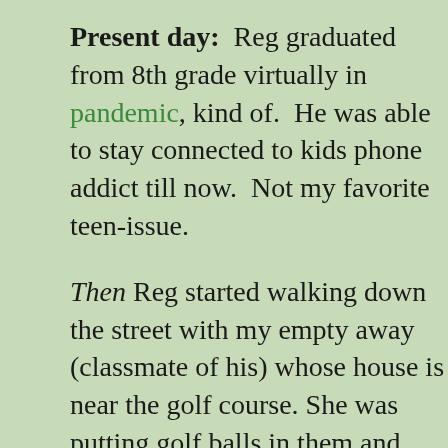Present day: Reg graduated from 8th grade virtually in pandemic, kind of. He was able to stay connected to kids phone addict till now. Not my favorite teen-issue.
Then Reg started walking down the street with my empty away (classmate of his) whose house is near the golf course. She was putting golf balls in them and selling them. I thought media.
Guess who apparently had his original marriage annulled schools once we left Catholic school, but they'll be attending social media, oh brother).
We encourage the older kids to invite friends here, so they to know who they hang with, plus Coach has so many D be subjected to them. Also Coach worked hard to finish houses. Hello, ping pong, fooz ball, air hockey, kitchen-